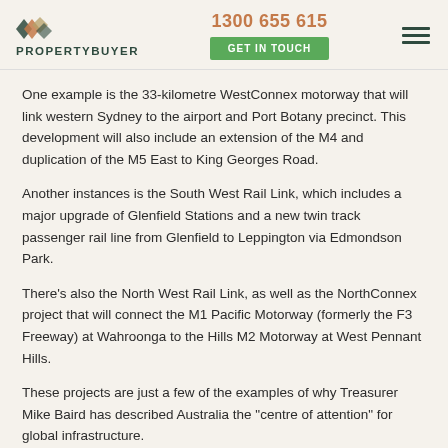PROPERTYBUYER | 1300 655 615 | GET IN TOUCH
One example is the 33-kilometre WestConnex motorway that will link western Sydney to the airport and Port Botany precinct. This development will also include an extension of the M4 and duplication of the M5 East to King Georges Road.
Another instances is the South West Rail Link, which includes a major upgrade of Glenfield Stations and a new twin track passenger rail line from Glenfield to Leppington via Edmondson Park.
There's also the North West Rail Link, as well as the NorthConnex project that will connect the M1 Pacific Motorway (formerly the F3 Freeway) at Wahroonga to the Hills M2 Motorway at West Pennant Hills.
These projects are just a few of the examples of why Treasurer Mike Baird has described Australia the "centre of attention" for global infrastructure.